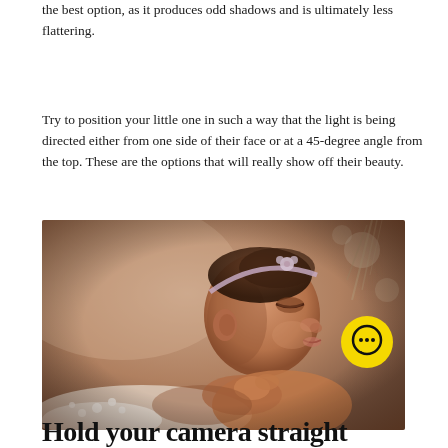the best option, as it produces odd shadows and is ultimately less flattering.
Try to position your little one in such a way that the light is being directed either from one side of their face or at a 45-degree angle from the top. These are the options that will really show off their beauty.
[Figure (photo): A sleeping newborn baby girl with a floral headband, photographed from the side against a warm beige/brown background with soft natural lighting. The baby is resting on white feathers and small white flowers.]
Hold your camera straight